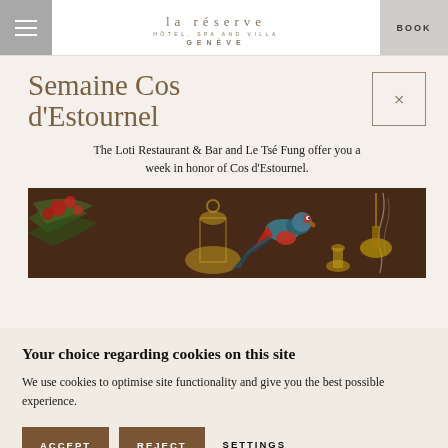la réserve HÔTEL, SPA AND VILLA GENÈVE | BOOK
Semaine Cos d'Estournel
The Loti Restaurant & Bar and Le Tsé Fung offer you a week in honor of Cos d'Estournel.
[Figure (photo): Decorative photo with a colorful bird, ornate brass objects, red flowers, and dark moody background — themed for Cos d'Estournel event.]
Your choice regarding cookies on this site
We use cookies to optimise site functionality and give you the best possible experience.
ACCEPT | REJECT | SETTINGS